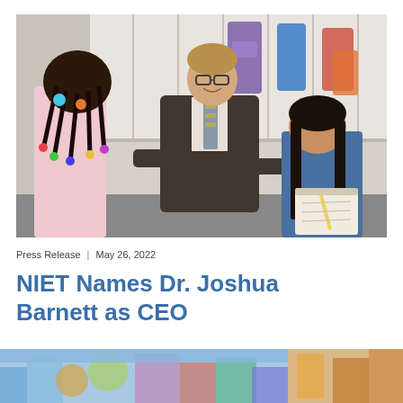[Figure (photo): A man in a dark suit and patterned tie smiles while interacting with two young girls. One girl has braids with colorful hair accessories and wears a pink shirt; another girl writes on a clipboard. Background shows white cubbies with backpacks, set in a school environment.]
Press Release  |  May 26, 2022
NIET Names Dr. Joshua Barnett as CEO
[Figure (photo): Two partial photos at the bottom of the page showing colorful classroom or school scenes.]